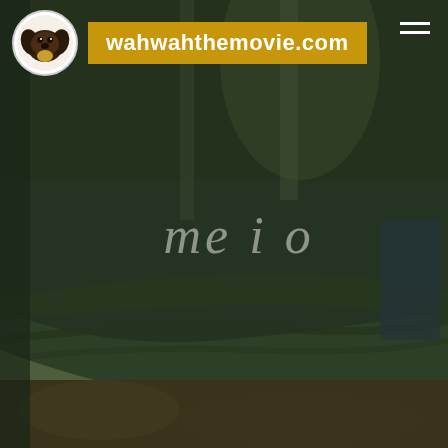[Figure (photo): Background photo of a person lying in a dark olive/green hammock in a forest setting, with a golden/brown dog standing near the hammock. Forest floor with fallen leaves visible. Dark, moody outdoor atmosphere.]
wahwahthemovie.com
me i o